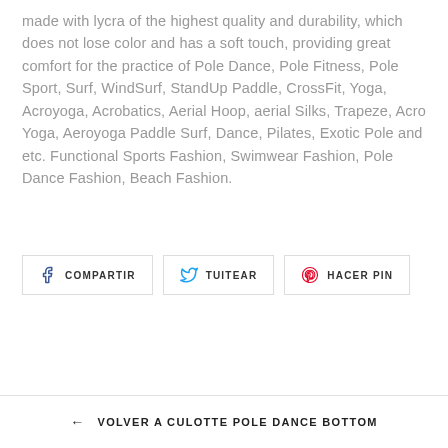made with lycra of the highest quality and durability, which does not lose color and has a soft touch, providing great comfort for the practice of Pole Dance, Pole Fitness, Pole Sport, Surf, WindSurf, StandUp Paddle, CrossFit, Yoga, Acroyoga, Acrobatics, Aerial Hoop, aerial Silks, Trapeze, Acro Yoga, Aeroyoga Paddle Surf, Dance, Pilates, Exotic Pole and etc. Functional Sports Fashion, Swimwear Fashion, Pole Dance Fashion, Beach Fashion.
[Figure (other): Three social sharing buttons: COMPARTIR (Facebook), TUITEAR (Twitter), HACER PIN (Pinterest)]
← VOLVER A CULOTTE POLE DANCE BOTTOM